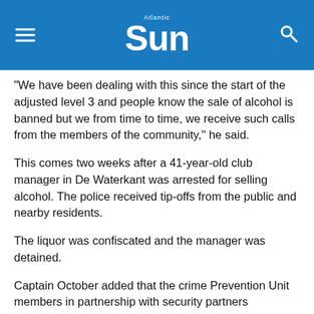Atlantic Sun
"We have been dealing with this since the start of the adjusted level 3 and people know the sale of alcohol is banned but we from time to time, we receive such calls from the members of the community," he said.
This comes two weeks after a 41-year-old club manager in De Waterkant was arrested for selling alcohol. The police received tip-offs from the public and nearby residents.
The liquor was confiscated and the manager was detained.
Captain October added that the crime Prevention Unit members in partnership with security partners determination and efforts to clean the streets of City Centre Policing Precinct continue to yield desired successes.